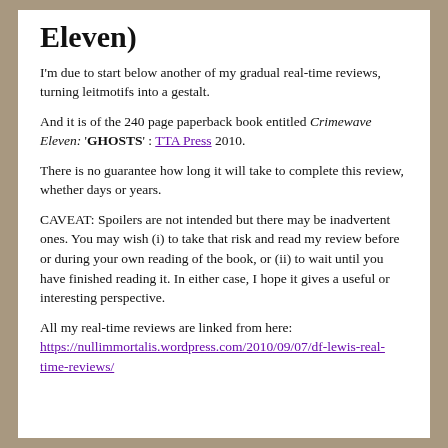Eleven)
I'm due to start below another of my gradual real-time reviews, turning leitmotifs into a gestalt.
And it is of the 240 page paperback book entitled Crimewave Eleven: 'GHOSTS' : TTA Press 2010.
There is no guarantee how long it will take to complete this review, whether days or years.
CAVEAT: Spoilers are not intended but there may be inadvertent ones. You may wish (i) to take that risk and read my review before or during your own reading of the book, or (ii) to wait until you have finished reading it. In either case, I hope it gives a useful or interesting perspective.
All my real-time reviews are linked from here: https://nullimmortalis.wordpress.com/2010/09/07/df-lewis-real-time-reviews/